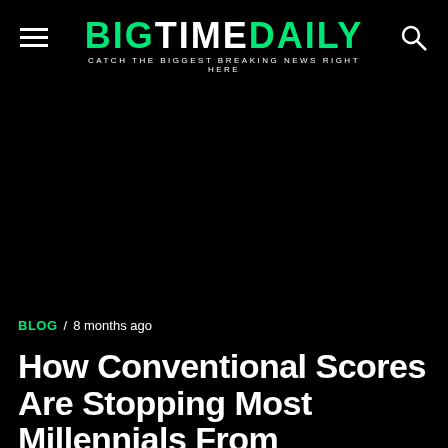BIGTIMEDAILY — CATCH THE BIGGEST BREAKING NEWS RIGHT HERE
[Figure (other): Black advertisement/image area]
BLOG / 8 months ago
How Conventional Scores Are Stopping Most Millennials From Accessing Credit and How One Company Is Changing That